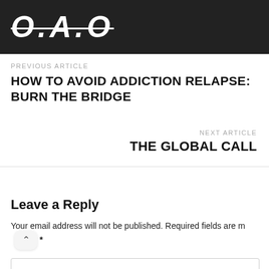O.A.O
PREVIOUS ARTICLE
HOW TO AVOID ADDICTION RELAPSE: BURN THE BRIDGE
NEXT ARTICLE
THE GLOBAL CALL
Leave a Reply
Your email address will not be published. Required fields are m *